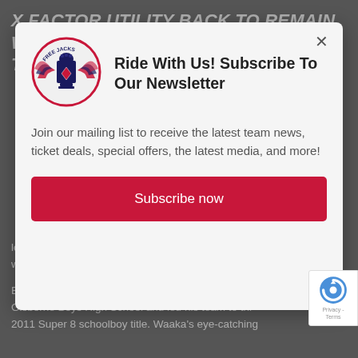X FACTOR UTILITY BACK TO REMAIN WITH THE FREE JACKS THROUGH THE 2022 SEASON
[Figure (logo): Free Jacks rugby team logo — circular emblem with eagle wings, fist, and playing card diamond motif]
Ride With Us! Subscribe To Our Newsletter
Join our mailing list to receive the latest team news, ticket deals, special offers, the latest media, and more!
Subscribe now
look forward to getting back with the Free Jacks family and seeing what MLR 2021 has in store."
Born in Whakatane, New Zealand, Waaka attended Gisborne Boys High School and led his team to the 2011 Super 8 schoolboy title. Waaka's eye-catching